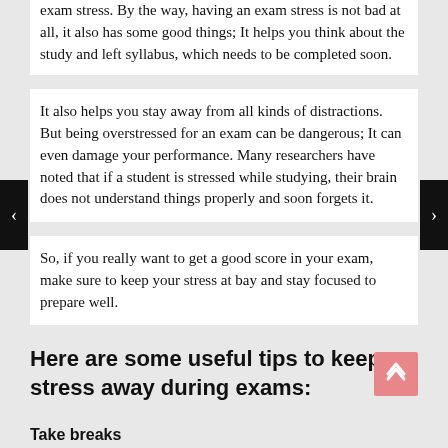exam stress. By the way, having an exam stress is not bad at all, it also has some good things; It helps you think about the study and left syllabus, which needs to be completed soon.
It also helps you stay away from all kinds of distractions. But being overstressed for an exam can be dangerous; It can even damage your performance. Many researchers have noted that if a student is stressed while studying, their brain does not understand things properly and soon forgets it.
So, if you really want to get a good score in your exam, make sure to keep your stress at bay and stay focused to prepare well.
Here are some useful tips to keep stress away during exams:
Take breaks
Taking short breaks during studies is very important. A